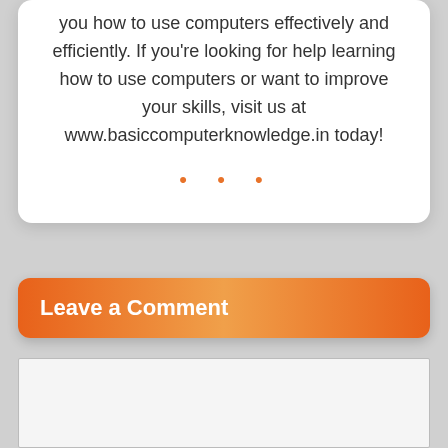you how to use computers effectively and efficiently. If you're looking for help learning how to use computers or want to improve your skills, visit us at www.basiccomputerknowledge.in today!
...
Leave a Comment